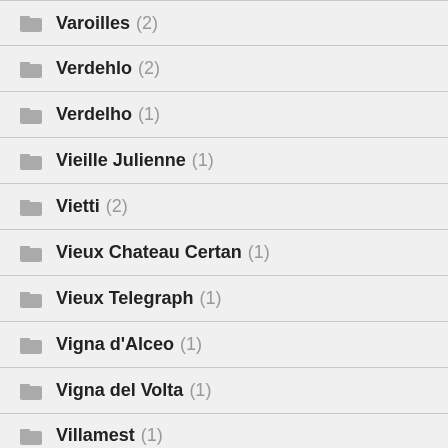Varoilles (2)
Verdehlo (2)
Verdelho (1)
Vieille Julienne (1)
Vietti (2)
Vieux Chateau Certan (1)
Vieux Telegraph (1)
Vigna d'Alceo (1)
Vigna del Volta (1)
Villamest (1)